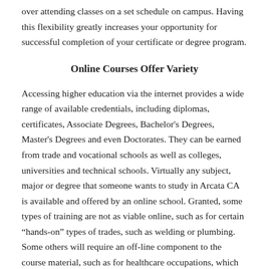over attending classes on a set schedule on campus.  Having this flexibility greatly increases your opportunity for successful completion of your certificate or degree program.
Online Courses Offer Variety
Accessing higher education via the internet provides a wide range of available credentials, including diplomas, certificates, Associate Degrees, Bachelor's Degrees, Master's Degrees and even Doctorates.  They can be earned from trade and vocational schools as well as colleges, universities and technical schools.  Virtually any subject, major or degree that someone wants to study in Arcata CA is available and offered by an online school.  Granted, some types of training are not as viable online, such as for certain “hands-on” types of trades, such as welding or plumbing.  Some others will require an off-line component to the course material, such as for healthcare occupations, which generally have a clinical or lab requirement.  But in most other cases the majority or all of